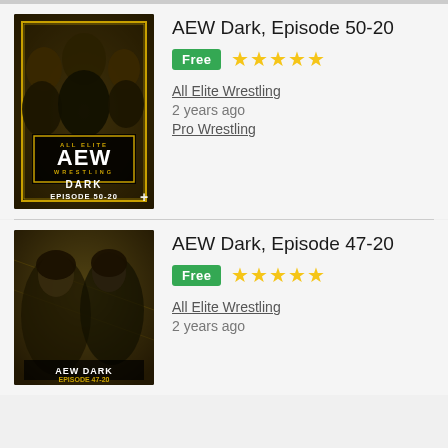[Figure (photo): AEW Dark Episode 50-20 promotional thumbnail showing wrestlers with AEW logo]
AEW Dark, Episode 50-20
Free ★★★★★
All Elite Wrestling
2 years ago
Pro Wrestling
[Figure (photo): AEW Dark Episode 47-20 promotional thumbnail showing two women wrestlers]
AEW Dark, Episode 47-20
Free ★★★★★
All Elite Wrestling
2 years ago